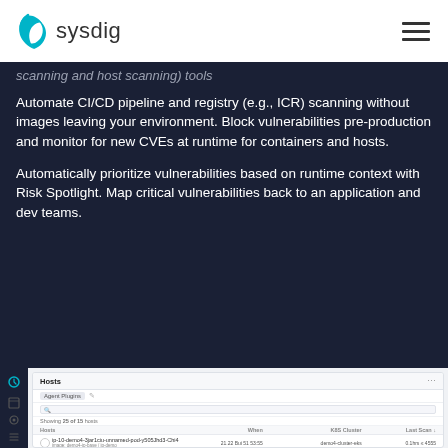sysdig
scanning and host scanning) tools
Automate CI/CD pipeline and registry (e.g., ICR) scanning without images leaving your environment. Block vulnerabilities pre-production and monitor for new CVEs at runtime for containers and hosts.
Automatically prioritize vulnerabilities based on runtime context with Risk Spotlight. Map critical vulnerabilities back to an application and dev teams.
[Figure (screenshot): Sysdig Hosts UI screenshot showing a hosts table with columns: Host, When, K8S Cluster, Last Scan. Shows one row with a host entry and scan details.]